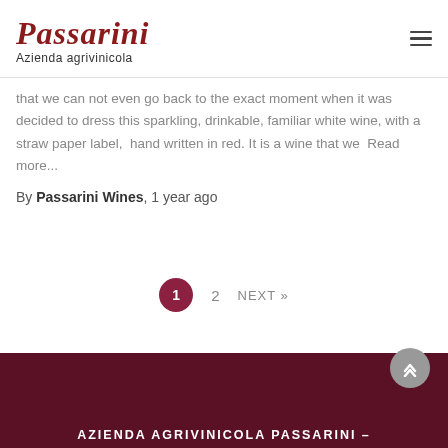Passarini Azienda agrivinicola
that we can not even go back to the exact moment when it was decided to dress this sparkling, drinkable, familiar white wine, with a straw paper label,  hand written in red. It is a wine that we  Read more...
By Passarini Wines, 1 year ago
1  2  NEXT »
AZIENDA AGRIVINICOLA PASSARINI –